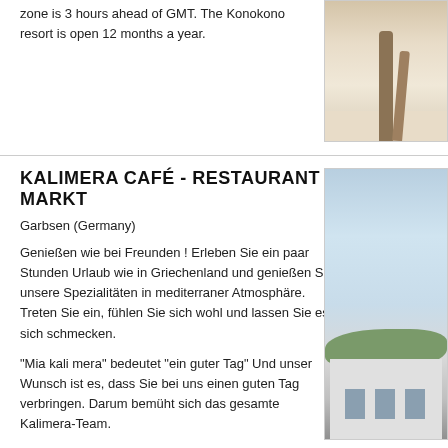zone is 3 hours ahead of GMT. The Konokono resort is open 12 months a year.
[Figure (photo): Photo of palm trees on a sandy beach with bright light]
KALIMERA CAFÉ - RESTAURANT - MARKT
Garbsen (Germany)
Genießen wie bei Freunden ! Erleben Sie ein paar Stunden Urlaub wie in Griechenland und genießen Sie unsere Spezialitäten in mediterraner Atmosphäre. Treten Sie ein, fühlen Sie sich wohl und lassen Sie es sich schmecken.
"Mia kali mera" bedeutet "ein guter Tag" Und unser Wunsch ist es, dass Sie bei uns einen guten Tag verbringen. Darum bemüht sich das gesamte Kalimera-Team.
[Figure (photo): Photo of a modern building exterior with blue sky]